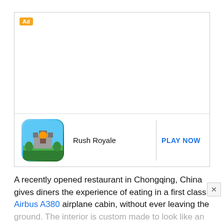[Figure (screenshot): Advertisement box with 'Ad' label in orange, showing Rush Royale game icon and 'PLAY NOW' call to action button]
A recently opened restaurant in Chongqing, China gives diners the experience of eating in a first class Airbus A380 airplane cabin, without ever leaving the ground. The interior is custom made to look like an airplane and they have 'flight attendants' for waitstaff